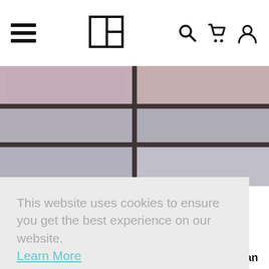Navigation bar with hamburger menu, logo, search, cart, and user icons
[Figure (photo): Close-up photo of rectangular stone or tile blocks in muted pink and grey tones arranged in a grid pattern with dark grout lines]
This website uses cookies to ensure you get the best experience on our website. Learn More
Got it!
Desert Delight
Discover the inspiring desert landscapes of the North American